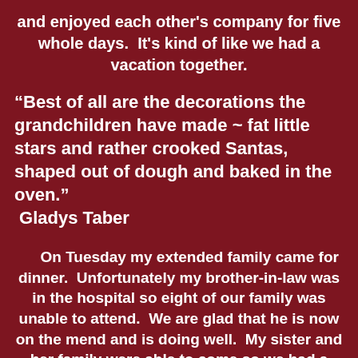and enjoyed each other's company for five whole days.  It's kind of like we had a vacation together.
“Best of all are the decorations the grandchildren have made ~ fat little stars and rather crooked Santas, shaped out of dough and baked in the oven.”  Gladys Taber
On Tuesday my extended family came for dinner.  Unfortunately my brother-in-law was in the hospital so eight of our family was unable to attend.  We are glad that he is now on the mend and is doing well.  My sister and her family were able to come so we had a smaller group of